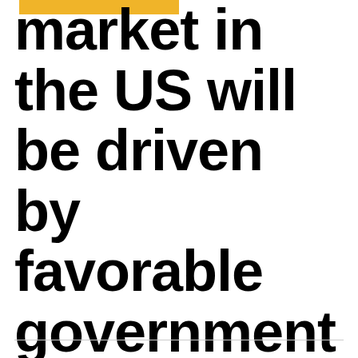market in the US will be driven by favorable government policies, says GlobalData